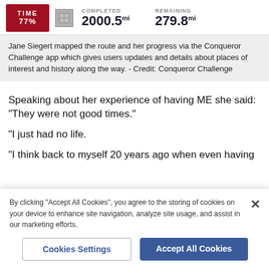[Figure (screenshot): App screenshot showing TIME label in red box, map icon, COMPLETED 2000.5 mi, REMAINING 279.8 mi]
Jane Siegert mapped the route and her progress via the Conqueror Challenge app which gives users updates and details about places of interest and history along the way. - Credit: Conqueror Challenge
Speaking about her experience of having ME she said: "They were not good times."
"I just had no life.
"I think back to myself 20 years ago when even having
By clicking "Accept All Cookies", you agree to the storing of cookies on your device to enhance site navigation, analyze site usage, and assist in our marketing efforts.